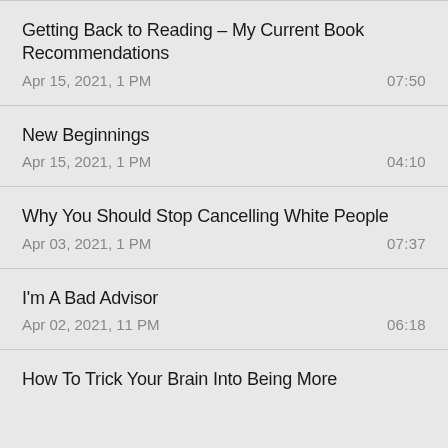Getting Back to Reading – My Current Book Recommendations
Apr 15, 2021, 1 PM	07:50
New Beginnings
Apr 15, 2021, 1 PM	04:10
Why You Should Stop Cancelling White People
Apr 03, 2021, 1 PM	07:37
I'm A Bad Advisor
Apr 02, 2021, 11 PM	06:18
How To Trick Your Brain Into Being More